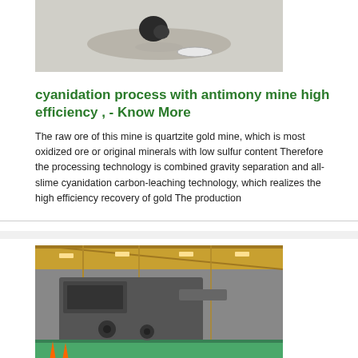[Figure (photo): Photo of a dark mineral/rock specimen on a light grey surface]
cyanidation process with antimony mine high efficiency , - Know More
The raw ore of this mine is quartzite gold mine, which is most oxidized ore or original minerals with low sulfur content Therefore the processing technology is combined gravity separation and all-slime cyanidation carbon-leaching technology, which realizes the high efficiency recovery of gold The production
[Figure (photo): Photo of industrial mining machinery inside a large warehouse/factory building]
antimony mine and processing technology - Know More
antimony mining technology thgroupcoza Antimony Mineral Processing Process Introduction Proportion of antimony ore is far greater than proportion of gangue, so it will be separated by using the method gravity separationThis method has